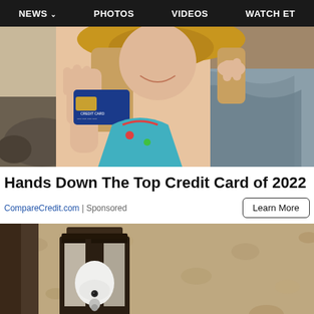NEWS  PHOTOS  VIDEOS  WATCH ET
[Figure (photo): Woman at beach in floral swimsuit holding a blue credit card, smiling, wearing a tan sun hat with ocean waves in background]
Hands Down The Top Credit Card of 2022
CompareCredit.com | Sponsored
Learn More
[Figure (photo): Outdoor wall-mounted black lantern light fixture with a white smart bulb/security camera device installed, mounted on a beige stucco wall]